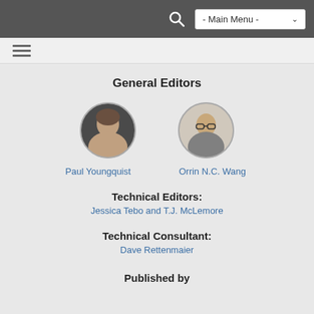- Main Menu -
General Editors
[Figure (photo): Circular portrait photo of Paul Youngquist]
Paul Youngquist
[Figure (photo): Circular portrait photo of Orrin N.C. Wang]
Orrin N.C. Wang
Technical Editors:
Jessica Tebo and T.J. McLemore
Technical Consultant:
Dave Rettenmaier
Published by